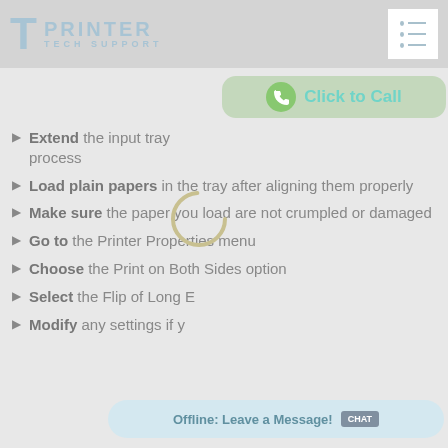Printer Tech Support
[Figure (screenshot): Click to Call button with phone icon on green background]
Extend the input tray … process
Load plain papers in the tray after aligning them properly
Make sure the paper you load are not crumpled or damaged
Go to the Printer Properties menu
Choose the Print on Both Sides option
Select the Flip of Long E…
Modify any settings if y…
[Figure (screenshot): Offline: Leave a Message chat button at bottom]